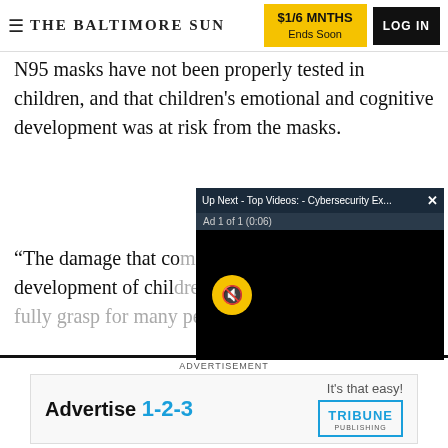THE BALTIMORE SUN | $1/6 MNTHS Ends Soon | LOG IN
N95 masks have not been properly tested in children, and that children's emotional and cognitive development was at risk from the masks.
“The damage that co[mes from masks on the] development of chil[dren is] fully grasp for many [people]”
[Figure (screenshot): Video overlay popup: 'Up Next - Top Videos: - Cybersecurity Ex...' with close button X, 'Ad 1 of 1 (0:06)' bar, black video screen with yellow mute/unmute button]
Taboola Feed
[Figure (screenshot): Advertisement banner: 'ADVERTISEMENT' label above, ad box reading 'Advertise 1-2-3' with 'It’s that easy!' and Tribune Publishing logo]